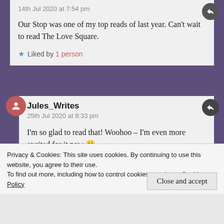14th Jul 2020 at 7:54 pm
Our Stop was one of my top reads of last year. Can't wait to read The Love Square.
Liked by 1 person
Jules_Writes
25th Jul 2020 at 8:33 pm
I'm so glad to read that! Woohoo – I'm even more excited for it now 🙂
Privacy & Cookies: This site uses cookies. By continuing to use this website, you agree to their use.
To find out more, including how to control cookies, see here: Cookie Policy
Close and accept